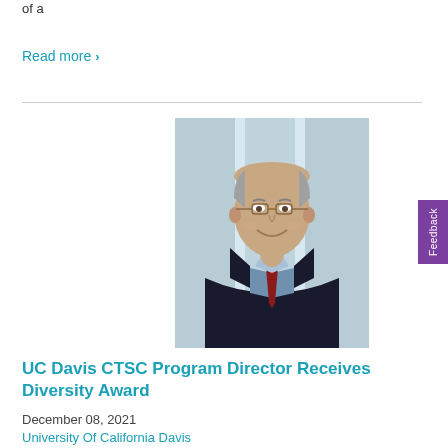of a
Read more ›
[Figure (photo): Professional headshot of a man in a dark suit and red tie, smiling, with a blurred building background]
UC Davis CTSC Program Director Receives Diversity Award
December 08, 2021
University Of California Davis